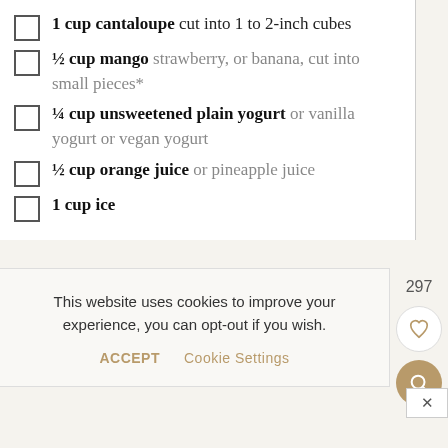1 cup cantaloupe cut into 1 to 2-inch cubes
½ cup mango strawberry, or banana, cut into small pieces*
¼ cup unsweetened plain yogurt or vanilla yogurt or vegan yogurt
½ cup orange juice or pineapple juice
1 cup ice
This website uses cookies to improve your experience, you can opt-out if you wish.
ACCEPT   Cookie Settings